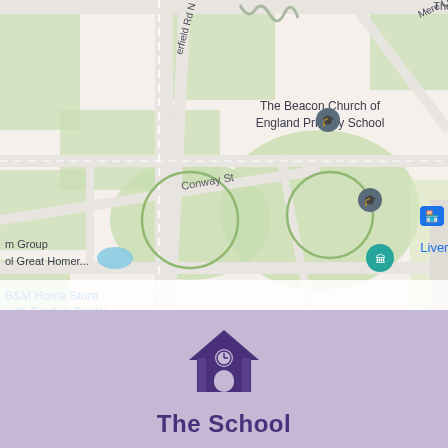[Figure (map): Google Maps screenshot showing area of North Liverpool, UK. Features include: The Derry Social Club (top center), Mere Lane (top right), The Beacon Church of England Primary School with map pin (center-top), North Liverpool Academy with map pin (right), 'ington Group' and 'ol Great Homer...' labels (left), Conway St road label (center-left), One Stop store marker (right-center), Liverpool Islamic Centre marker (center-right), B&M Home Store with Garden Centre (bottom-left), A5050 road label (bottom-right). Green parkland areas and road network visible.]
[Figure (logo): School building icon in dark purple, showing a house/school silhouette with a clock on the front, two vertical pillars and a peaked roof.]
The School